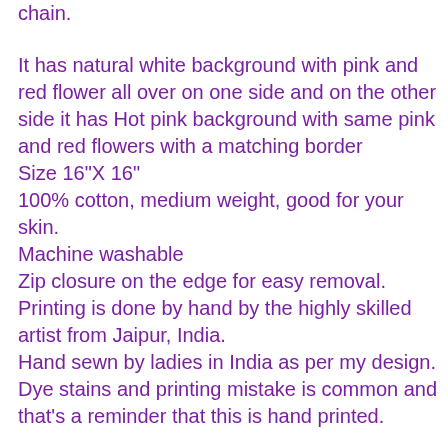chain.
It has natural white background with pink and red flower all over on one side and on the other side it has Hot pink background with same pink and red flowers with a matching border
Size 16"X 16"
100% cotton, medium weight, good for your skin.
Machine washable
Zip closure on the edge for easy removal.
Printing is done by hand by the highly skilled artist from Jaipur, India.
Hand sewn by ladies in India as per my design.
Dye stains and printing mistake is common and that's a reminder that this is hand printed.